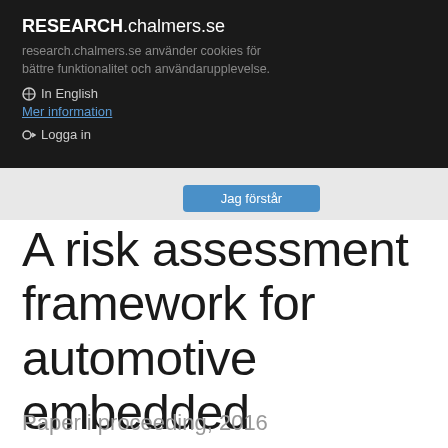RESEARCH.chalmers.se
research.chalmers.se använder cookies för bättre funktionalitet och användarupplevelse.
In English
Mer information
Logga in
Jag förstår
A risk assessment framework for automotive embedded systems
Paper i proceeding, 2016